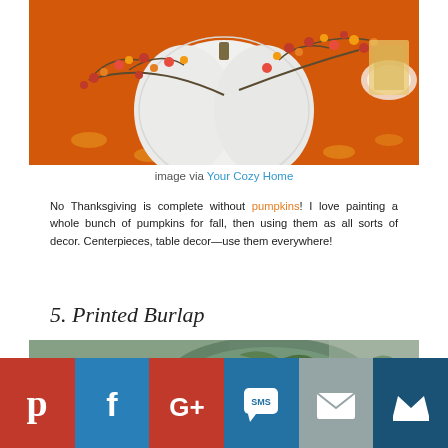[Figure (photo): White pumpkin on an orange floral tablecloth with fall berry branches draped around it, table setting in background]
image via Your Cozy Home
No Thanksgiving is complete without pumpkins! I love painting a whole bunch of pumpkins for fall, then using them as all sorts of decor. Centerpieces, table decor—use them everywhere!
5. Printed Burlap
[Figure (photo): Partial photo showing green apple and leafy wreath on grey background]
[Figure (infographic): Social sharing bar with Pinterest, Facebook, Google+, SMS, Email, and crown/bookmark icons]